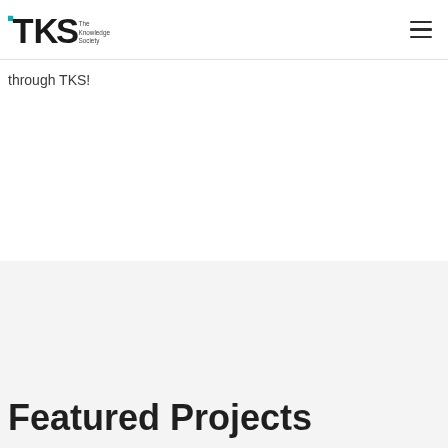TKS - The Knowledge Society
through TKS!
Featured Projects